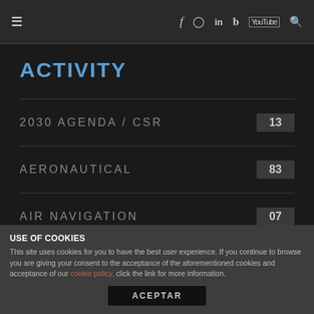≡  f  ○  in  🐦  You  🔍
ACTIVITY
2030 AGENDA / CSR  13
AERONAUTICAL  83
AIR NAVIGATION  07
USE OF COOKIES
This site uses cookies for you to have the best user experience. If you continue to browse you are giving your consent to the acceptance of the aforementioned cookies and acceptance of our cookie policy, click the link for more information.
ACEPTAR